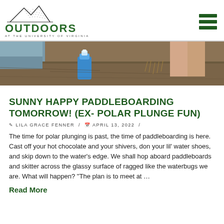OUTDOORS AT THE UNIVERSITY OF VIRGINIA
[Figure (photo): Outdoor scene showing ground with a blue water bottle and legs/feet near a waterside rocky area]
SUNNY HAPPY PADDLEBOARDING TOMORROW! (EX- POLAR PLUNGE FUN)
✎ LILA GRACE FENNER / 📅 APRIL 13, 2022 /
The time for polar plunging is past, the time of paddleboarding is here. Cast off your hot chocolate and your shivers, don your lil' water shoes, and skip down to the water's edge. We shall hop aboard paddleboards and skitter across the glassy surface of ragged like the waterbugs we are. What will happen? "The plan is to meet at ...
Read More